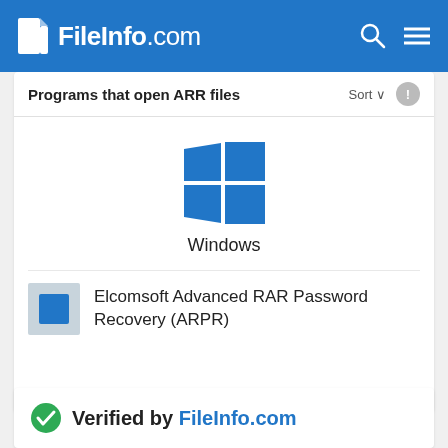FileInfo.com
Programs that open ARR files
[Figure (logo): Windows logo - four blue squares forming a window pane shape]
Windows
[Figure (logo): Elcomsoft Advanced RAR Password Recovery (ARPR) application icon - blue square on grey background]
Elcomsoft Advanced RAR Password Recovery (ARPR)
Updated September 22, 2008
Verified by FileInfo.com